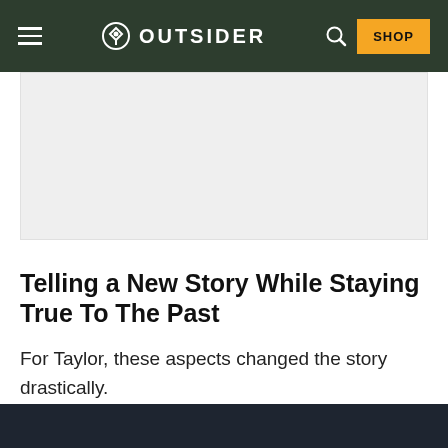OUTSIDER — navigation bar with hamburger menu, logo, search icon, and SHOP button
[Figure (other): Gray advertisement placeholder block]
Telling a New Story While Staying True To The Past
For Taylor, these aspects changed the story drastically.
“In many ways, we were changing radically the